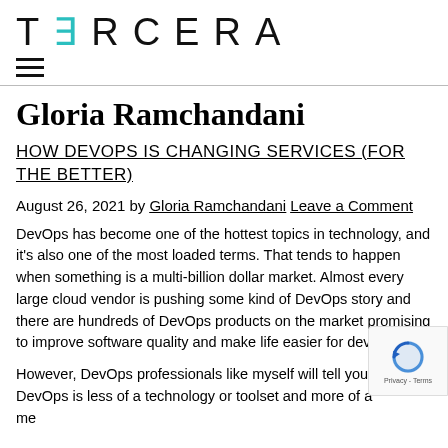TERCERA
Gloria Ramchandani
HOW DEVOPS IS CHANGING SERVICES (FOR THE BETTER)
August 26, 2021 by Gloria Ramchandani Leave a Comment
DevOps has become one of the hottest topics in technology, and it's also one of the most loaded terms. That tends to happen when something is a multi-billion dollar market. Almost every large cloud vendor is pushing some kind of DevOps story and there are hundreds of DevOps products on the market promising to improve software quality and make life easier for developers.
However, DevOps professionals like myself will tell you that DevOps is less of a technology or toolset and more of a methodology or mindset. It's an approach to work as well as an IT role or function.